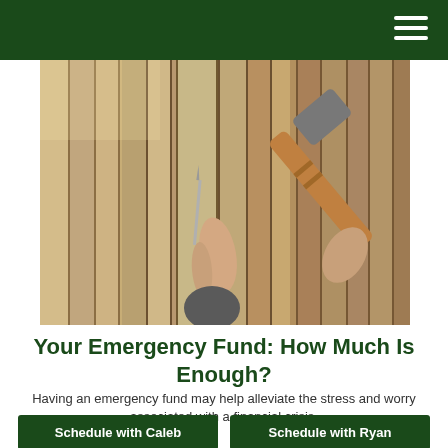[Figure (photo): A person holding a nail against wooden fence boards with a hammer about to strike, showing a home repair or construction scene.]
Your Emergency Fund: How Much Is Enough?
Having an emergency fund may help alleviate the stress and worry associated with a financial crisis.
Schedule with Caleb
Schedule with Ryan